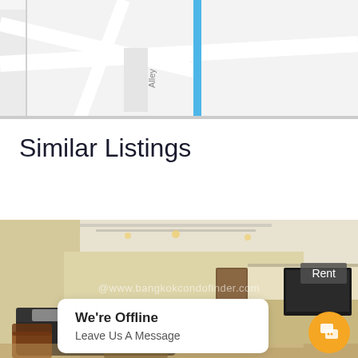[Figure (map): Partial map view showing street with 'Alley' label and a blue road segment]
Similar Listings
[Figure (photo): Interior photo of a furnished apartment showing living room with sofa, chairs, kitchen in background, and TV. Watermark reads @www.bangkokcondofinder.com. A 'Rent' badge appears in top right. An offline chat popup reads 'We're Offline / Leave Us A Message' with an orange chat button.]